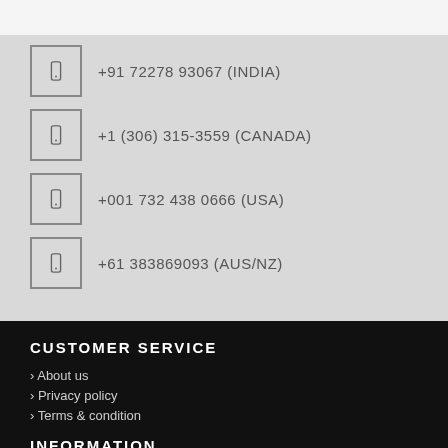+91 72278 93067 (INDIA)
+1 (306) 315-3559 (CANADA)
+001 732 438 0666 (USA)
+61 383869093 (AUS/NZ)
CUSTOMER SERVICE
> About us
> Privacy policy
> Terms & condition
INFORMATION